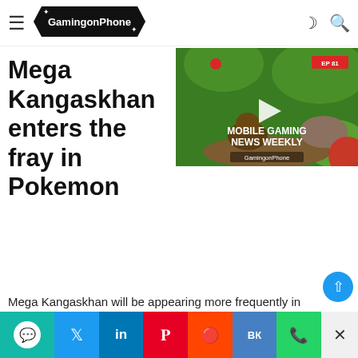GamingonPhone — navigation bar with hamburger menu and logo
Pokemon GO April 2022 Raid Diary: After you Mega Evolve a Pokemon, you'll be able to Mega Evolve the Same Pokemon again without using Mega Energy.
Mega Kangaskhan enters the fray in Pokemon
[Figure (screenshot): Video thumbnail for 'Mobile Gaming News Weekly' episode 81, showing a jungle scene with game characters, GamingonPhone branding, and a play button overlay.]
For the first time, Mega Kangaskhan will be appearing in Mega Raids!
Mega Kangaskhan Raid Day
On Sunday, May 1, 2022, from 11:00 a.m. to 2:00 p.m. local time, this Mega Kangaskhan Raid Day will run featuring:
Mega Kangaskhan will be appearing more frequently in
Share bar: Twitter, LinkedIn, Pinterest, Reddit, VK, WhatsApp, close button